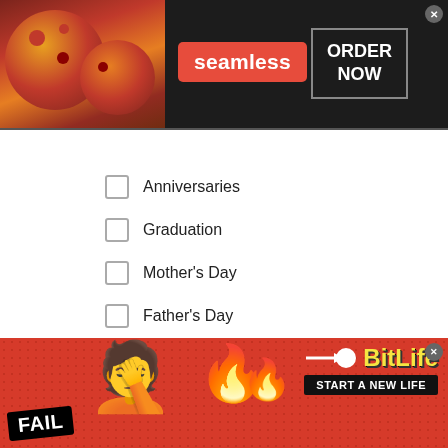[Figure (screenshot): Seamless food delivery top banner ad with pizza image, red 'seamless' badge, and 'ORDER NOW' button on dark background]
Anniversaries
Graduation
Mother's Day
Father's Day
[Figure (logo): Zeta logo with diamond shape icon and blue ZETA text]
1 of 3
[Figure (screenshot): BitLife mobile game bottom banner ad with FAIL badge, facepalm emoji, flames, sperm icon, BitLife logo, and START A NEW LIFE text on red background]